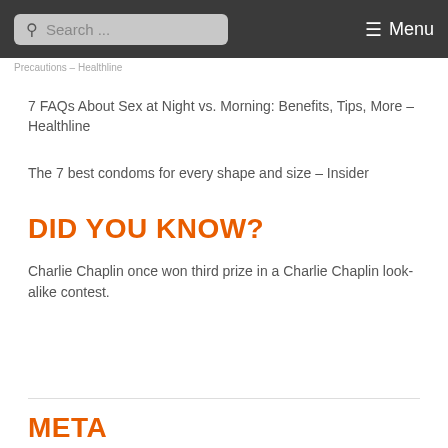Search ... Menu
Precautions – Healthline
7 FAQs About Sex at Night vs. Morning: Benefits, Tips, More – Healthline
The 7 best condoms for every shape and size – Insider
DID YOU KNOW?
Charlie Chaplin once won third prize in a Charlie Chaplin look-alike contest.
META